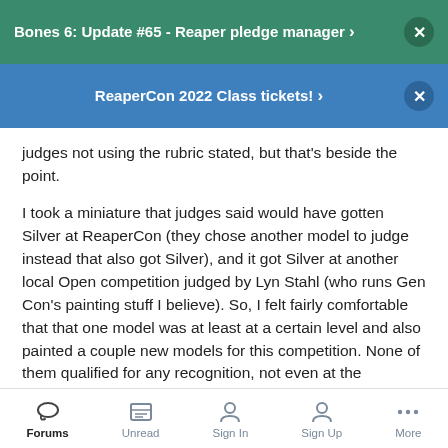Bones 6: Update #65 - Reaper pledge manager >
ReaperCon 2022 Class tickets! >
judges not using the rubric stated, but that's beside the point.

I took a miniature that judges said would have gotten Silver at ReaperCon (they chose another model to judge instead that also got Silver), and it got Silver at another local Open competition judged by Lyn Stahl (who runs Gen Con's painting stuff I believe). So, I felt fairly comfortable that that one model was at least at a certain level and also painted a couple new models for this competition. None of them qualified for any recognition, not even at the intermediate level. Now, I know my paint jobs weren't flawless. I'm under no illusions there. I got valuable feedback from the judges and I had previously used similar feedback to improve upon
Forums | Unread | Sign In | Sign Up | More